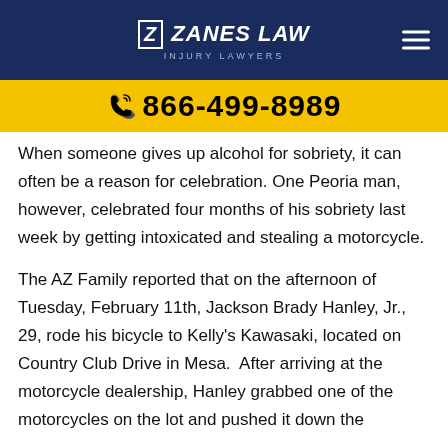Zanes Law Injury Lawyers
866-499-8989
When someone gives up alcohol for sobriety, it can often be a reason for celebration. One Peoria man, however, celebrated four months of his sobriety last week by getting intoxicated and stealing a motorcycle.
The AZ Family reported that on the afternoon of Tuesday, February 11th, Jackson Brady Hanley, Jr., 29, rode his bicycle to Kelly's Kawasaki, located on Country Club Drive in Mesa.  After arriving at the motorcycle dealership, Hanley grabbed one of the motorcycles on the lot and pushed it down the